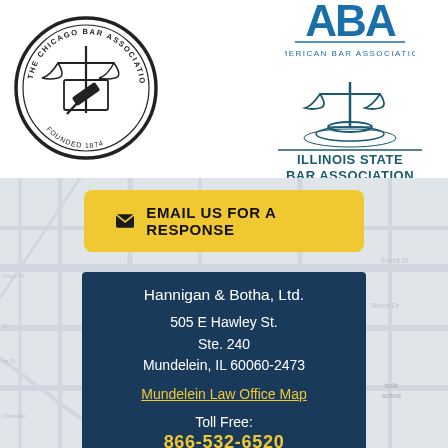[Figure (logo): The Chicago Bar Association circular seal logo, Founded 1874, with scales of justice and gavel]
[Figure (logo): American Bar Association (ABA) logo in blue]
[Figure (logo): Illinois State Bar Association logo with scales icon and bold text]
[Figure (infographic): Yellow email button with envelope icon reading EMAIL US FOR A RESPONSE]
Hannigan & Botha, Ltd.
505 E Hawley St.
Ste. 240
Mundelein, IL 60060-2473
Mundelein Law Office Map
Toll Free: